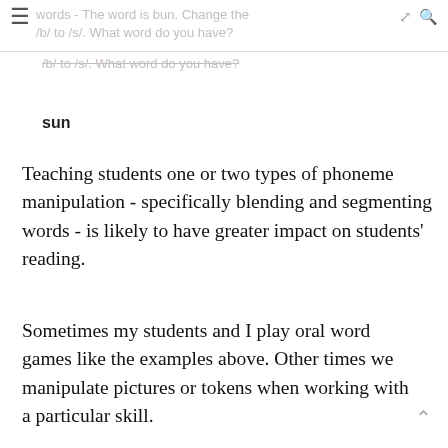words - The word is bun. Change the /b/ to /s/. What word do you have?
sun
Teaching students one or two types of phoneme manipulation - specifically blending and segmenting words - is likely to have greater impact on students' reading.
Sometimes my students and I play oral word games like the examples above. Other times we manipulate pictures or tokens when working with a particular skill.